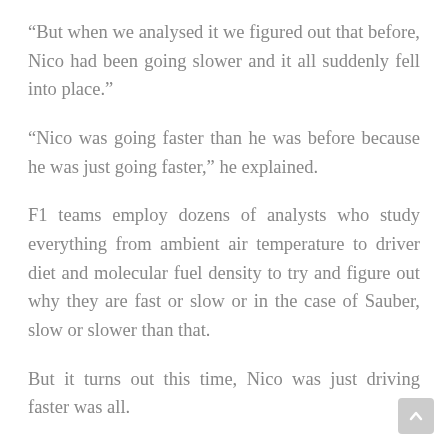“But when we analysed it we figured out that before, Nico had been going slower and it all suddenly fell into place.”
“Nico was going faster than he was before because he was just going faster,” he explained.
F1 teams employ dozens of analysts who study everything from ambient air temperature to driver diet and molecular fuel density to try and figure out why they are fast or slow or in the case of Sauber, slow or slower than that.
But it turns out this time, Nico was just driving faster was all.